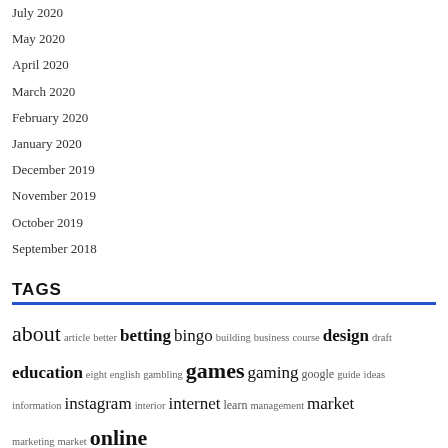July 2020
May 2020
April 2020
March 2020
February 2020
January 2020
December 2019
November 2019
October 2019
September 2018
TAGS
about article better betting bingo building business course design draft education eight english gambling games gaming google guide ideas information instagram interior internet learn management market marketing online